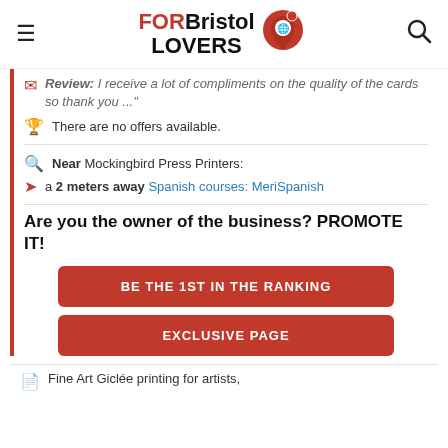FORBristol LOVERS
Review: I receive a lot of compliments on the quality of the cards so thank you ..."
There are no offers available.
Near Mockingbird Press Printers:
a 2 meters away Spanish courses: MeriSpanish
Are you the owner of the business? PROMOTE IT!
BE THE 1ST IN THE RANKING
EXCLUSIVE PAGE
Fine Art Giclée printing for artists,